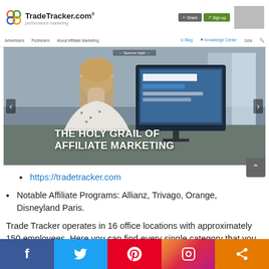[Figure (screenshot): TradeTracker.com website header with logo, navigation buttons (Share, Sign up), and nav bar with links: Advertisers, Publishers, About Affiliate Marketing, Blog, Knowledge Center, Jobs, search icon]
[Figure (photo): Hero banner showing a woman looking at a computer screen with overlay text 'THE HOLY GRAIL OF AFFILIATE MARKETING', with left/right navigation arrows]
https://tradetracker.com
Notable Affiliate Programs: Allianz, Trivago, Orange, Disneyland Paris.
Trade Tracker operates in 16 office locations with approximately 150 employees. Here you can find every single category that you can possibly imagine. Some examples include
[Figure (screenshot): Social media sharing bar at bottom with Facebook, Twitter, Pinterest, Instagram, and Share buttons]